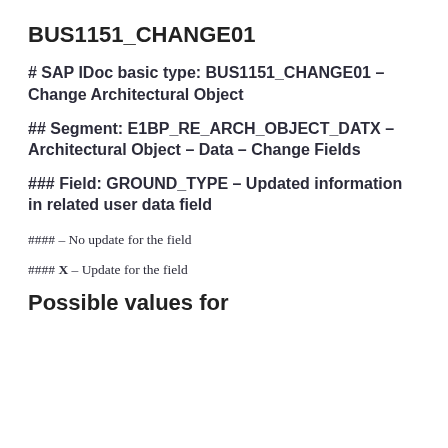BUS1151_CHANGE01
# SAP IDoc basic type: BUS1151_CHANGE01 – Change Architectural Object
## Segment: E1BP_RE_ARCH_OBJECT_DATX – Architectural Object – Data – Change Fields
### Field: GROUND_TYPE – Updated information in related user data field
#### – No update for the field
#### X – Update for the field
Possible values for